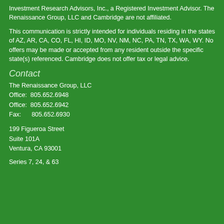Investment Research Advisors, Inc., a Registered Investment Advisor. The Renaissance Group, LLC and Cambridge are not affiliated.
This communication is strictly intended for individuals residing in the states of AZ, AR, CA, CO, FL, HI, ID, MO, NV, NM, NC, PA, TN, TX, WA, WY. No offers may be made or accepted from any resident outside the specific state(s) referenced. Cambridge does not offer tax or legal advice.
Contact
The Renaissance Group, LLC
Office:  805.652.6948
Office:  805.652.6942
Fax:      805.652.6930
199 Figueroa Street
Suite 101A
Ventura, CA 93001
Series 7, 24, & 63